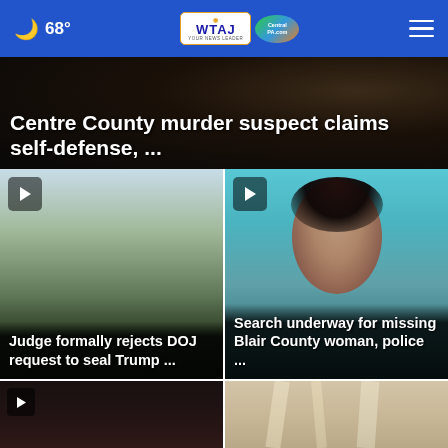68° WTAJ CentralPA.com
[Figure (screenshot): Hero banner with dark background showing headline text]
Centre County murder suspect claims self-defense, ...
[Figure (photo): Outdoor scene with palm trees and buildings (Mar-a-Lago area)]
Judge formally rejects DOJ request to seal Trump ...
[Figure (photo): Portrait photo of a young woman with dark hair against teal background - missing Blair County woman]
Search underway for missing Blair County woman, police ...
[Figure (photo): Bottom left partial photo - dark background with partial face]
[Figure (photo): Bottom right partial photo - person with blonde hair]